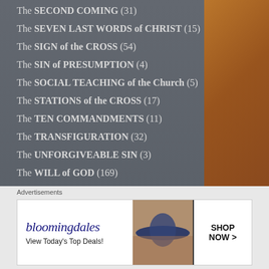The SECOND COMING (31)
The SEVEN LAST WORDS of CHRIST (15)
The SIGN of the CROSS (54)
The SIN of PRESUMPTION (4)
The SOCIAL TEACHING of the Church (5)
The STATIONS of the CROSS (17)
The TEN COMMANDMENTS (11)
The TRANSFIGURATION (32)
The UNFORGIVEABLE SIN (3)
The WILL of GOD (169)
The WORD (2,677)
[Figure (screenshot): Bloomingdales advertisement banner: 'bloomingdales - View Today's Top Deals!' with SHOP NOW > button]